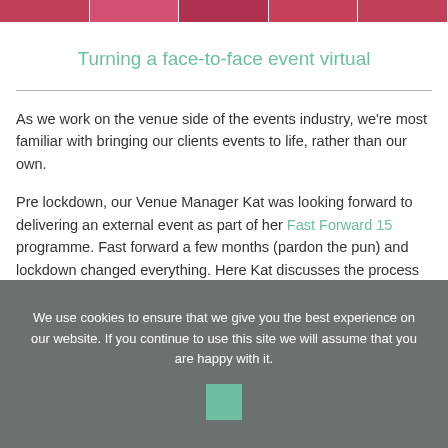[Figure (photo): Strip of video call participant thumbnails across the top of the page, showing people in a grid layout with pink/red tones]
Turning a face-to-face event virtual
As we work on the venue side of the events industry, we're most familiar with bringing our clients events to life, rather than our own.
Pre lockdown, our Venue Manager Kat was looking forward to delivering an external event as part of her Fast Forward 15 programme. Fast forward a few months (pardon the pun) and lockdown changed everything. Here Kat discusses the process of turning a face to face event
We use cookies to ensure that we give you the best experience on our website. If you continue to use this site we will assume that you are happy with it.